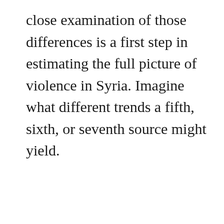close examination of those differences is a first step in estimating the full picture of violence in Syria. Imagine what different trends a fifth, sixth, or seventh source might yield.